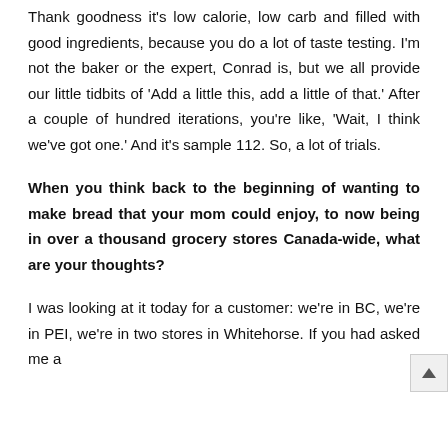Thank goodness it's low calorie, low carb and filled with good ingredients, because you do a lot of taste testing. I'm not the baker or the expert, Conrad is, but we all provide our little tidbits of 'Add a little this, add a little of that.' After a couple of hundred iterations, you're like, 'Wait, I think we've got one.' And it's sample 112. So, a lot of trials.
When you think back to the beginning of wanting to make bread that your mom could enjoy, to now being in over a thousand grocery stores Canada-wide, what are your thoughts?
I was looking at it today for a customer: we're in BC, we're in PEI, we're in two stores in Whitehorse. If you had asked me a